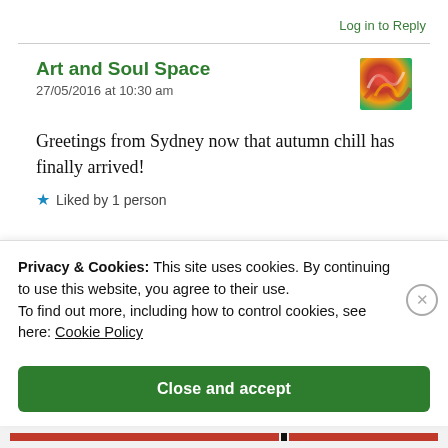Log in to Reply
Art and Soul Space
27/05/2016 at 10:30 am
Greetings from Sydney now that autumn chill has finally arrived!
Liked by 1 person
Privacy & Cookies: This site uses cookies. By continuing to use this website, you agree to their use.
To find out more, including how to control cookies, see here: Cookie Policy
Close and accept